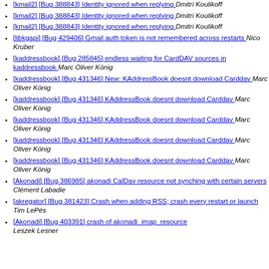[kmail2] [Bug 388843] Identity ignored when replying  Dmitri Koulikoff
[kmail2] [Bug 388843] Identity ignored when replying  Dmitri Koulikoff
[kmail2] [Bug 388843] Identity ignored when replying  Dmitri Koulikoff
[libkgapi] [Bug 429406] Gmail auth token is not remembered across restarts  Nico Kruber
[kaddressbook] [Bug 285845] endless waiting for CardDAV sources in kaddressbook  Marc Oliver König
[kaddressbook] [Bug 431346] New: KAddressBook doesnt download Carddav  Marc Oliver König
[kaddressbook] [Bug 431346] KAddressBook doesnt download Carddav  Marc Oliver König
[kaddressbook] [Bug 431346] KAddressBook doesnt download Carddav  Marc Oliver König
[kaddressbook] [Bug 431346] KAddressBook doesnt download Carddav  Marc Oliver König
[kaddressbook] [Bug 431346] KAddressBook doesnt download Carddav  Marc Oliver König
[Akonadi] [Bug 386985] akonadi CalDav resource not synching with certain servers  Clément Labadie
[akregator] [Bug 381423] Crash when adding RSS; crash every restart or launch  Tim LePés
[Akonadi] [Bug 403391] crash of akonadi_imap_resource  Leszek Lesner